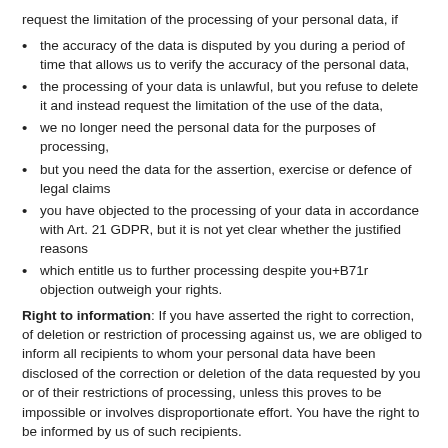request the limitation of the processing of your personal data, if
the accuracy of the data is disputed by you during a period of time that allows us to verify the accuracy of the personal data,
the processing of your data is unlawful, but you refuse to delete it and instead request the limitation of the use of the data,
we no longer need the personal data for the purposes of processing,
but you need the data for the assertion, exercise or defence of legal claims
you have objected to the processing of your data in accordance with Art. 21 GDPR, but it is not yet clear whether the justified reasons
which entitle us to further processing despite you+B71r objection outweigh your rights.
Right to information: If you have asserted the right to correction, of deletion or restriction of processing against us, we are obliged to inform all recipients to whom your personal data have been disclosed of the correction or deletion of the data requested by you or of their restrictions of processing, unless this proves to be impossible or involves disproportionate effort. You have the right to be informed by us of such recipients.
Right to data transfer: Pursuant to Art. 20 GDPR, you may request to